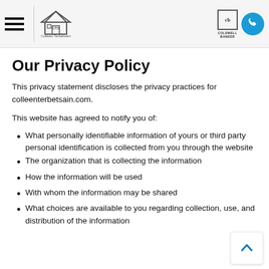Coldwell Banker - Colleen Terbetsain - navigation header
Our Privacy Policy
This privacy statement discloses the privacy practices for colleenterbetsain.com.
This website has agreed to notify you of:
What personally identifiable information of yours or third party personal identification is collected from you through the website
The organization that is collecting the information
How the information will be used
With whom the information may be shared
What choices are available to you regarding collection, use, and distribution of the information